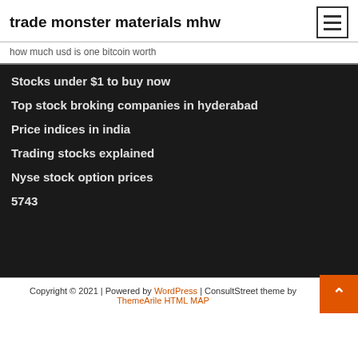trade monster materials mhw
how much usd is one bitcoin worth
Stocks under $1 to buy now
Top stock broking companies in hyderabad
Price indices in india
Trading stocks explained
Nyse stock option prices
5743
Copyright © 2021 | Powered by WordPress | ConsultStreet theme by ThemeArile HTML MAP